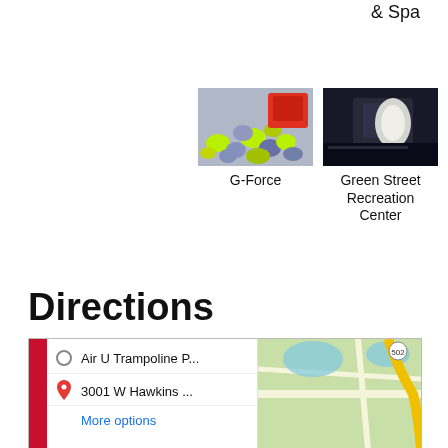& Spa
[Figure (photo): G-Force venue photo showing colorful foam/balls]
[Figure (photo): Green Street Recreation Center photo showing outdoor night scene]
G-Force
Green Street Recreation Center
Directions
[Figure (map): Google Maps screenshot showing directions from Air U Trampoline P... to 3001 W Hawkins ... with More options link]